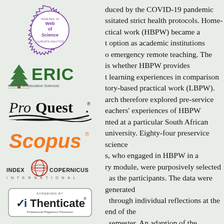[Figure (logo): Web of Science indexed badge - circular purple stamp with serrated edge, text 'INDEXED IN Web of Science CLARIVATE ANALYTICS']
[Figure (logo): ERIC - Institute of Education Sciences logo with green tree icon]
[Figure (logo): ProQuest logo with stylized road/path graphic]
[Figure (logo): Scopus logo in orange italic text with registered trademark]
[Figure (logo): Index Copernicus International logo with globe icon]
[Figure (logo): iThenticate Screened badge - white box with checkmark, text 'SCREENED BY iThenticate Professional Plagiarism Prevention']
duced by the COVID-19 pandemic ssitated strict health protocols. Home-ctical work (HBPW) became a t option as academic institutions o emergency remote teaching. The is whether HBPW provides t learning experiences in comparison tory-based practical work (LBPW). arch therefore explored pre-service eachers' experiences of HBPW nted at a particular South African university. Eighty-four preservice science s, who engaged in HBPW in a ry module, were purposively selected as the participants. The data were generated through individual reflections at the end of the semester. An adaption of the equivalence